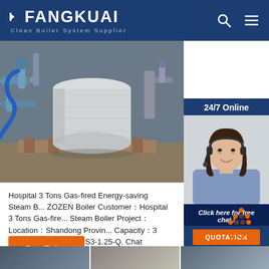FANGKUAI Clean Boiler System Supplier
[Figure (photo): Industrial boiler equipment with pipes and valves on a factory floor]
[Figure (photo): 24/7 Online customer service representative with headset, with Click here for free chat and QUOTATION button]
Hospital 3 Tons Gas-fired Energy-saving Steam Boiler ZOZEN Boiler Customer：Hospital 3 Tons Gas-fired Steam Boiler Project：Location：Shandong Province Capacity：3 tph；Equipment：WNS3-1.25-Q. Chat Channel Partner. TEL：0086-510-68530066.
[Figure (other): Get Price orange button]
[Figure (other): TOP navigation icon with orange dots]
[Figure (photo): Bottom strip showing industrial equipment thumbnails]